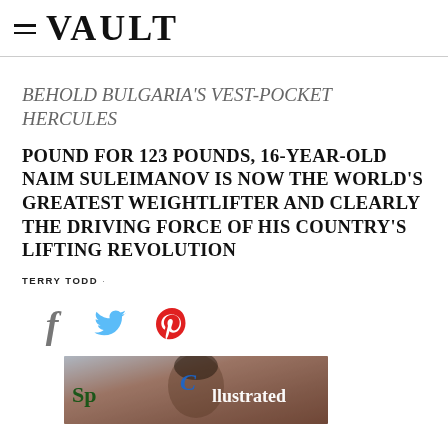≡ VAULT
BEHOLD BULGARIA'S VEST-POCKET HERCULES
POUND FOR 123 POUNDS, 16-YEAR-OLD NAIM SULEIMANOV IS NOW THE WORLD'S GREATEST WEIGHTLIFTER AND CLEARLY THE DRIVING FORCE OF HIS COUNTRY'S LIFTING REVOLUTION
TERRY TODD ·
[Figure (illustration): Social share icons: Facebook (f), Twitter (bird), Pinterest (P)]
[Figure (photo): Sports Illustrated magazine cover showing a baseball player wearing a Cubs cap, with 'Sp[orts] Illustrated' text overlay]